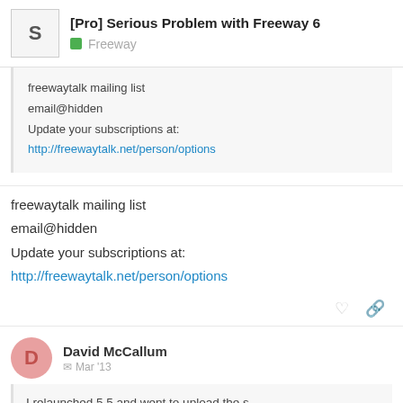[Pro] Serious Problem with Freeway 6 — Freeway
freewaytalk mailing list
email@hidden
Update your subscriptions at:
http://freewaytalk.net/person/options
freewaytalk mailing list
email@hidden
Update your subscriptions at:
http://freewaytalk.net/person/options
David McCallum — Mar '13
I relaunched 5.5 and went to upload the s
the same thing telling me that files coul